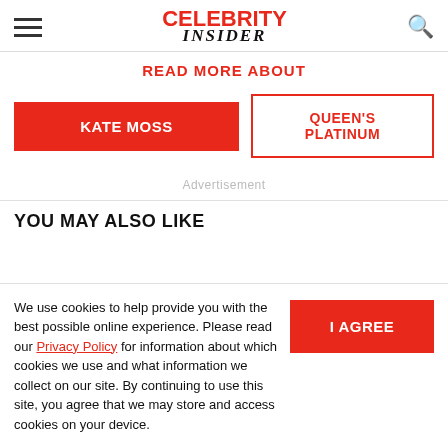Celebrity Insider
READ MORE ABOUT
KATE MOSS
QUEEN'S PLATINUM
Advertisement
YOU MAY ALSO LIKE
We use cookies to help provide you with the best possible online experience. Please read our Privacy Policy for information about which cookies we use and what information we collect on our site. By continuing to use this site, you agree that we may store and access cookies on your device.